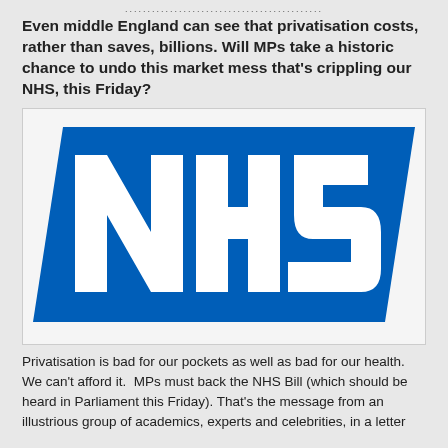................................................................................
Even middle England can see that privatisation costs, rather than saves, billions. Will MPs take a historic chance to undo this market mess that's crippling our NHS, this Friday?
[Figure (logo): NHS logo — white letters 'NHS' on a blue parallelogram/rhombus background, the well-known UK National Health Service logo.]
Privatisation is bad for our pockets as well as bad for our health. We can't afford it.  MPs must back the NHS Bill (which should be heard in Parliament this Friday). That's the message from an illustrious group of academics, experts and celebrities, in a letter